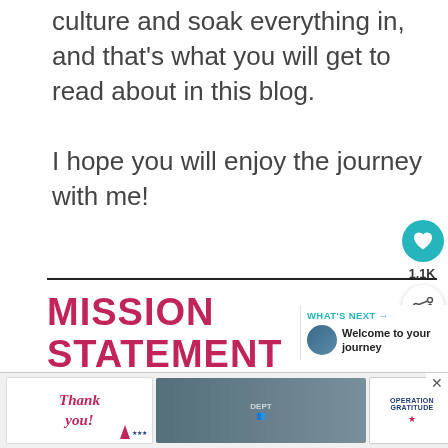culture and soak everything in, and that's what you will get to read about in this blog.
I hope you will enjoy the journey with me!
1.1K
MISSION STATEMENT
WHAT'S NEXT → Welcome to your journey
Empowering kids of all ages
[Figure (screenshot): Advertisement banner for Operation Gratitude featuring a Thank You message with illustrated pencil/flag and a photo of firefighters/uniformed personnel]